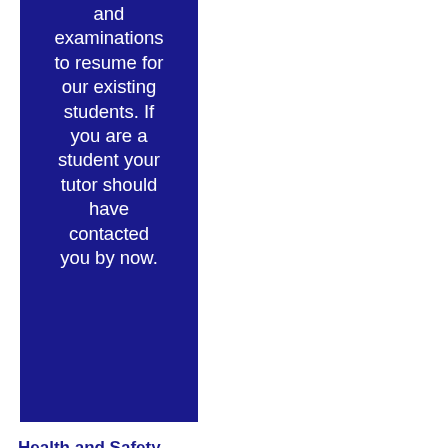and examinations to resume for our existing students. If you are a student your tutor should have contacted you by now.
Health and Safety Information - Flu Pandemic
COVID-19: Infection prevention and control guidance
COVID-19: Guidance for Care of the Deceased
The British